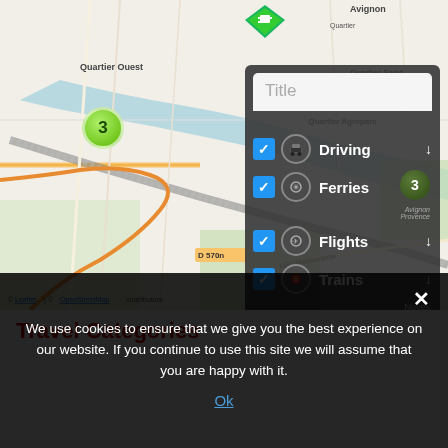[Figure (map): Interactive map showing the Avignon/Rognonas area in southern France with OpenStreetMap tiles. Shows Quartier Ouest, Quartier Saint-Chamand, Quartier Agroparc, D 570n road, LGV Méditerranée (LNS), Rognonas, Châteaurenard, and Noves. A green cluster marker with '3' is visible. A panel overlay shows transport categories: Driving, Ferries, Flights, Trains with blue checkboxes and a title input field.]
Travel Categories
We use cookies to ensure that we give you the best experience on our website. If you continue to use this site we will assume that you are happy with it.
Ok